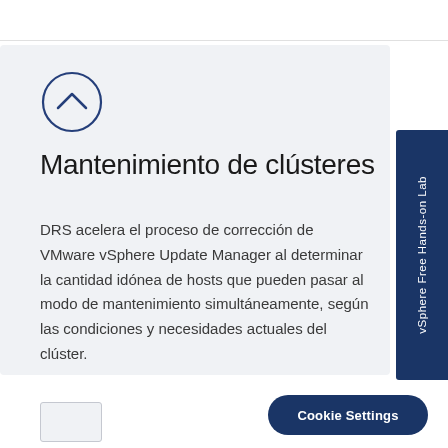[Figure (illustration): Circle with upward chevron/caret icon, outline style in dark blue]
Mantenimiento de clústeres
DRS acelera el proceso de corrección de VMware vSphere Update Manager al determinar la cantidad idónea de hosts que pueden pasar al modo de mantenimiento simultáneamente, según las condiciones y necesidades actuales del clúster.
Cookie Settings